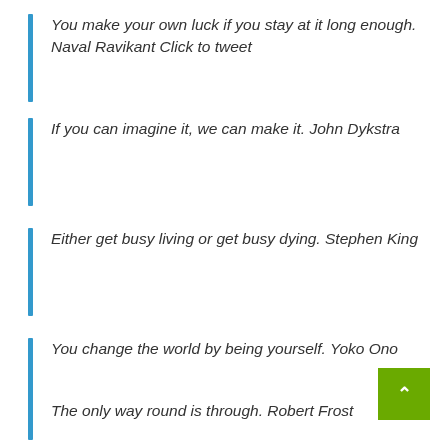You make your own luck if you stay at it long enough. Naval Ravikant Click to tweet
If you can imagine it, we can make it. John Dykstra
Either get busy living or get busy dying. Stephen King
You change the world by being yourself. Yoko Ono
The only way round is through. Robert Frost